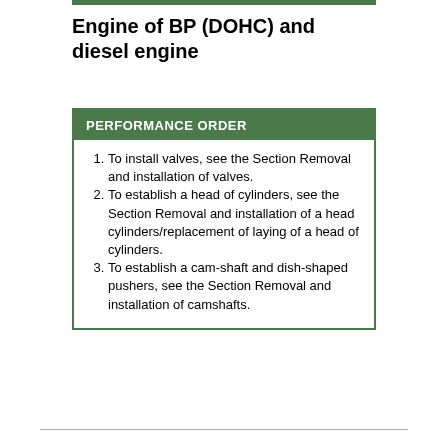Engine of BP (DOHC) and diesel engine
PERFORMANCE ORDER
To install valves, see the Section Removal and installation of valves.
To establish a head of cylinders, see the Section Removal and installation of a head cylinders/replacement of laying of a head of cylinders.
To establish a cam-shaft and dish-shaped pushers, see the Section Removal and installation of camshafts.